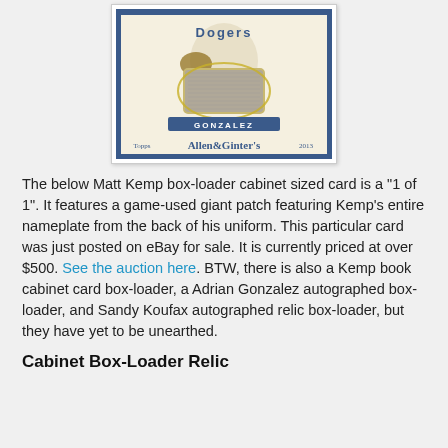[Figure (photo): A 2013 Topps Allen & Ginter baseball card for Gonzalez (Dodgers), featuring a game-used jersey relic swatch in the center, framed with gold laurel wreath design on a cream background.]
The below Matt Kemp box-loader cabinet sized card is a "1 of 1".  It features a game-used giant patch featuring Kemp's entire nameplate from the back of his uniform.  This particular card was just posted on eBay for sale.   It is currently priced at over $500.  See the auction here.  BTW, there is also a Kemp book cabinet card box-loader, a Adrian Gonzalez autographed box-loader, and Sandy Koufax autographed relic box-loader, but they have yet to be unearthed.
Cabinet Box-Loader Relic